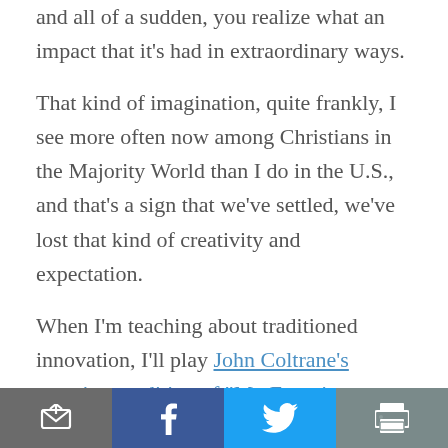and all of a sudden, you realize what an impact that it's had in extraordinary ways.
That kind of imagination, quite frankly, I see more often now among Christians in the Majority World than I do in the U.S., and that's a sign that we've settled, we've lost that kind of creativity and expectation.
When I'm teaching about traditioned innovation, I'll play John Coltrane's amazing rendition of "My Favorite Things." You know, you're listening to John Coltrane, the great saxophonist, and he's
[Figure (other): Social sharing toolbar with four buttons: email/share (dark grey), Facebook (dark blue), Twitter (light blue), print (grey-green)]